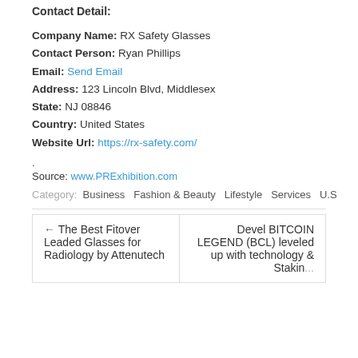Contact Detail:
Company Name: RX Safety Glasses
Contact Person: Ryan Phillips
Email: Send Email
Address: 123 Lincoln Blvd, Middlesex
State: NJ 08846
Country: United States
Website Url: https://rx-safety.com/
.
Source: www.PRExhibition.com
Category: Business  Fashion & Beauty  Lifestyle  Services  U.S
← The Best Fitover Leaded Glasses for Radiology by Attenutech
Devel BITCOIN LEGEND (BCL) leveled up with technology & Staking...